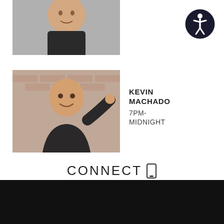[Figure (photo): Cropped photo of a man in a dark shirt, partially visible (top portion), smiling]
[Figure (photo): Photo of Kevin Machado, a smiling man in a dark shirt leaning against a brick wall]
KEVIN MACHADO
7PM-MIDNIGHT
[Figure (photo): Photo of Casey Kasem, a man in a dark suit with arms crossed, golden/yellow background]
CASEY KASEM
WEEKENDS
CONNECT